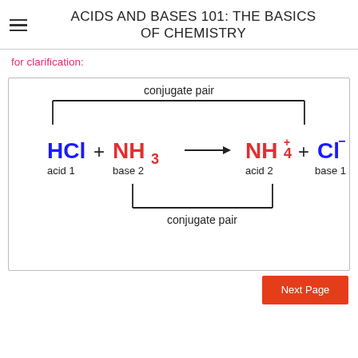ACIDS AND BASES 101: THE BASICS OF CHEMISTRY
for clarification:
[Figure (schematic): Diagram showing conjugate acid-base pairs: HCl + NH3 → NH4+ + Cl−. Brackets above connect HCl and Cl− labeled 'conjugate pair', brackets below connect NH3 and NH4+ labeled 'conjugate pair'. HCl labeled acid 1, NH3 labeled base 2, NH4+ labeled acid 2, Cl− labeled base 1.]
Next Page